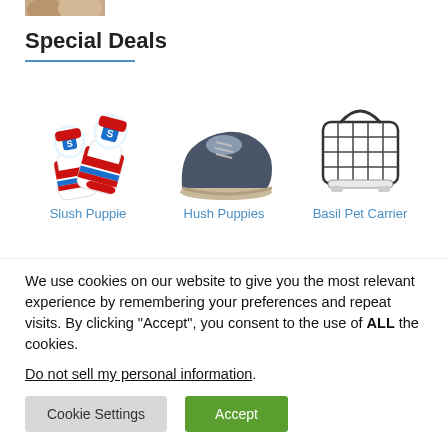[Figure (photo): Partial top image, cropped at top of page]
Special Deals
[Figure (photo): Slush Puppie novelty socks - white with red and blue cartoon character print]
[Figure (photo): Hush Puppies navy blue suede chukka boot]
[Figure (photo): Basil Pet Carrier - white wire bird cage style carrier]
Slush Puppie
Hush Puppies
Basil Pet Carrier
We use cookies on our website to give you the most relevant experience by remembering your preferences and repeat visits. By clicking “Accept”, you consent to the use of ALL the cookies.
Do not sell my personal information.
Cookie Settings
Accept